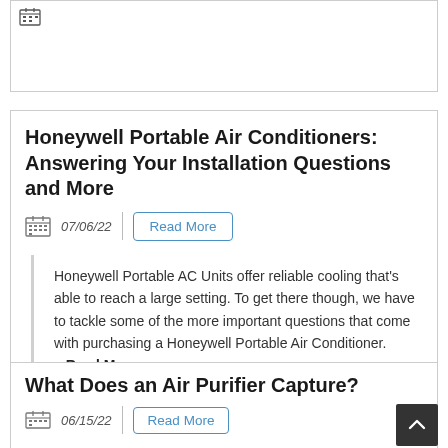[Figure (screenshot): Partial top of a blog article card, clipped at top of page]
Honeywell Portable Air Conditioners: Answering Your Installation Questions and More
07/06/22
Read More
Honeywell Portable AC Units offer reliable cooling that's able to reach a large setting. To get there though, we have to tackle some of the more important questions that come with purchasing a Honeywell Portable Air Conditioner. ...Read More
What Does an Air Purifier Capture?
06/15/22
Read More